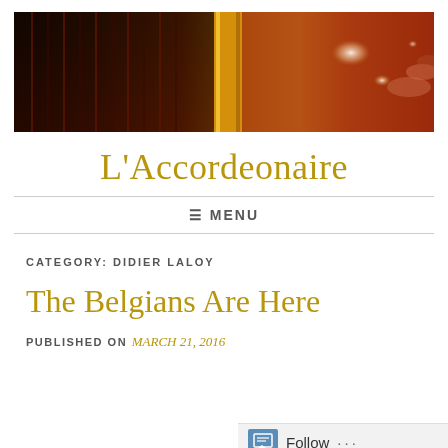[Figure (photo): Close-up photo of an accordion with warm amber/red tones, showing the bellows and keys with bokeh light effects]
L'Accordeonaire
≡ MENU
CATEGORY: DIDIER LALOY
The Belgians Are Here
PUBLISHED ON March 21, 2016